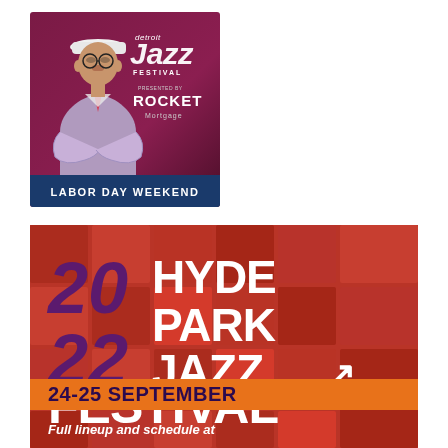[Figure (illustration): Detroit Jazz Festival poster featuring a man in a lavender blazer and white hat with arms crossed, on a dark magenta/burgundy background. Text reads 'detroit Jazz FESTIVAL presented by ROCKET Mortgage' with a blue bar at bottom reading 'LABOR DAY WEEKEND'.]
[Figure (illustration): 2022 Hyde Park Jazz Festival poster on red/burgundy tile-pattern background. Large purple '20' and '22' numerals with white 'HYDE PARK JAZZ FESTIVAL' text and a music note arrow graphic. Orange bar reads '24-25 SEPTEMBER'. Bottom text: 'Full lineup and schedule at']